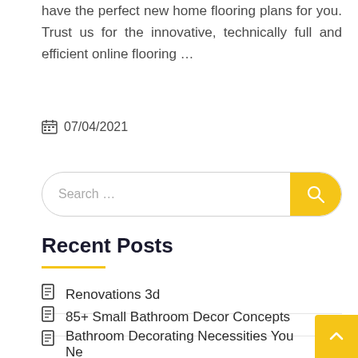have the perfect new home flooring plans for you. Trust us for the innovative, technically full and efficient online flooring …
07/04/2021
Search …
Recent Posts
Renovations 3d
85+ Small Bathroom Decor Concepts
Bathroom Decorating Necessities You Ne Now